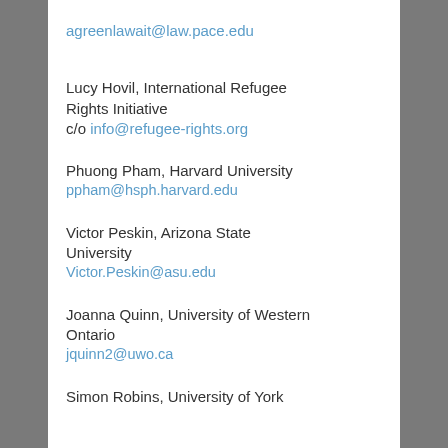agreenlawait@law.pace.edu
Lucy Hovil, International Refugee Rights Initiative
c/o info@refugee-rights.org
Phuong Pham, Harvard University
ppham@hsph.harvard.edu
Victor Peskin, Arizona State University
Victor.Peskin@asu.edu
Joanna Quinn, University of Western Ontario
jquinn2@uwo.ca
Simon Robins, University of York